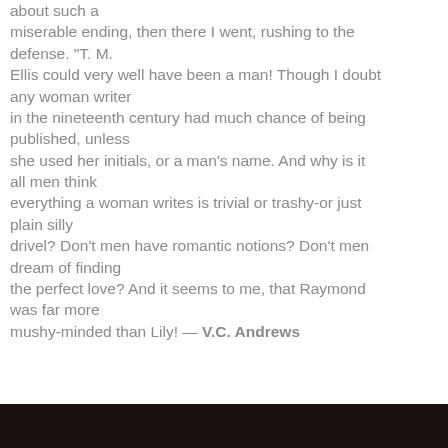about such a miserable ending, then there I went, rushing to the defense. "T. M. Ellis could very well have been a man! Though I doubt any woman writer in the nineteenth century had much chance of being published, unless she used her initials, or a man's name. And why is it all men think everything a woman writes is trivial or trashy-or just plain silly drivel? Don't men have romantic notions? Don't men dream of finding the perfect love? And it seems to me, that Raymond was far more mushy-minded than Lily! — V.C. Andrews
[Figure (photo): Dark photo strip at the bottom of the page]